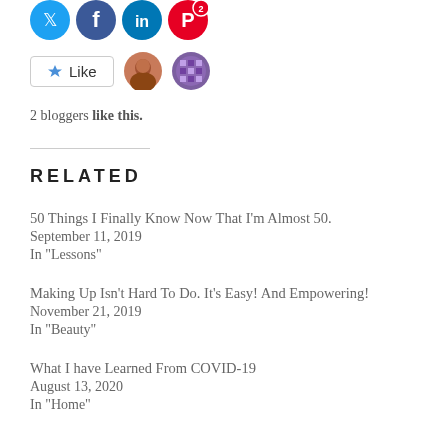[Figure (other): Social media share icons: Twitter (blue bird), Facebook (blue f), LinkedIn (blue in), Pinterest (red P with badge 2)]
[Figure (other): Like button with star icon, two blogger avatars (photo and mosaic pattern)]
2 bloggers like this.
RELATED
50 Things I Finally Know Now That I’m Almost 50.
September 11, 2019
In “Lessons”
Making Up Isn’t Hard To Do. It’s Easy! And Empowering!
November 21, 2019
In “Beauty”
What I have Learned From COVID-19
August 13, 2020
In “Home”